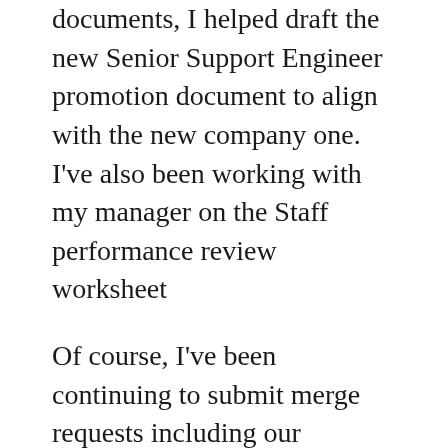documents, I helped draft the new Senior Support Engineer promotion document to align with the new company one. I've also been working with my manager on the Staff performance review worksheet
Of course, I've been continuing to submit merge requests including our documentation and code base. I honestly don't even know if I've ever gotten any before because I never checked, but with the recent major version release, I took a look, and found I had 2 featured bug fixes in 15.0!
I'm sure I've missed some things that people might find interesting to know I've worked on in the last 6 months, but I don't want this to